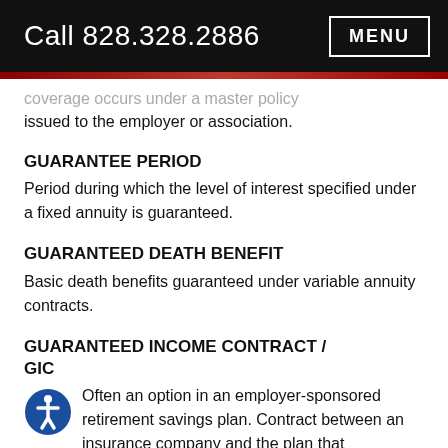Call 828.328.2886  MENU
coverage occurs under a master policy issued to the employer or association.
GUARANTEE PERIOD
Period during which the level of interest specified under a fixed annuity is guaranteed.
GUARANTEED DEATH BENEFIT
Basic death benefits guaranteed under variable annuity contracts.
GUARANTEED INCOME CONTRACT / GIC
Often an option in an employer-sponsored retirement savings plan. Contract between an insurance company and the plan that